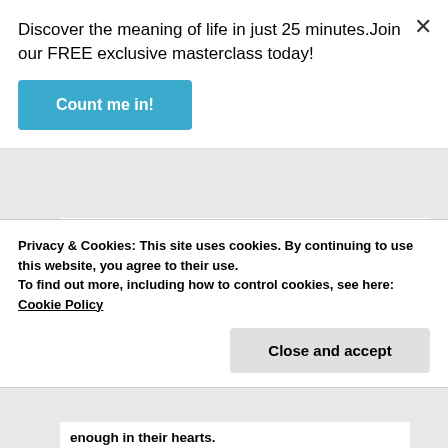Discover the meaning of life in just 25 minutes. Join our FREE exclusive masterclass today!
Count me in!
16:24–26), a symbol of difficulties and trials in your life!
Jesus is saying that if you are going to receive the word of God, there will be trials and persecution.
Thus, Yahshua says:
Privacy & Cookies: This site uses cookies. By continuing to use this website, you agree to their use.
To find out more, including how to control cookies, see here: Cookie Policy
Close and accept
enough in their hearts.